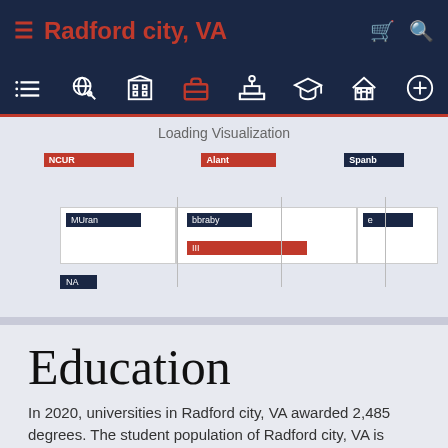Radford city, VA
[Figure (screenshot): Loading Visualization placeholder with partially visible horizontal bar charts showing data for multiple categories with red and navy blue bars]
Education
In 2020, universities in Radford city, VA awarded 2,485 degrees. The student population of Radford city, VA is